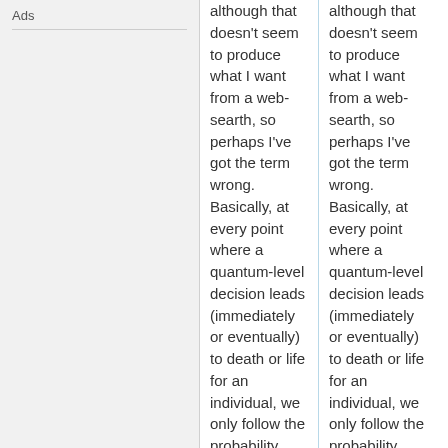Ads
although that doesn't seem to produce what I want from a web-searth, so perhaps I've got the term wrong. Basically, at every point where a quantum-level decision leads (immediately or eventually) to death or life for an individual, we only follow the probability path (in a many-worlds
although that doesn't seem to produce what I want from a web-searth, so perhaps I've got the term wrong. Basically, at every point where a quantum-level decision leads (immediately or eventually) to death or life for an individual, we only follow the probability path (in a many-worlds